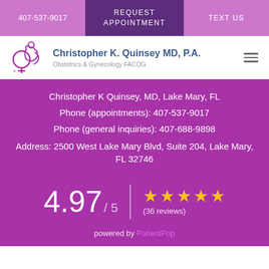407-537-9017 | REQUEST APPOINTMENT | TEXT US
[Figure (logo): Christopher K. Quinsey MD, P.A. Obstetrics & Gynecology FACOG logo with stylized female silhouette and gender symbol]
Christopher K Quinsey, MD, Lake Mary, FL
Phone (appointments): 407-537-9017
Phone (general inquiries): 407-688-9898
Address: 2500 West Lake Mary Blvd, Suite 204, Lake Mary, FL 32746
4.97 / 5  ★★★★★  (36 reviews)
powered by PatientPop